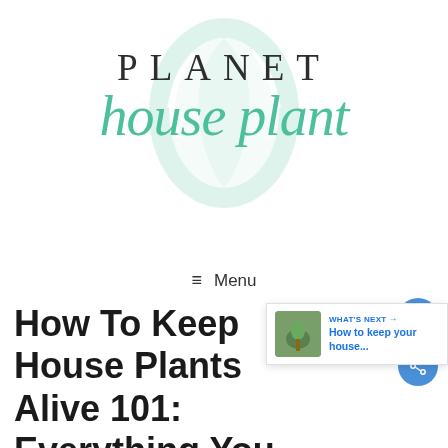[Figure (logo): Planet House Plant logo with teal monstera leaf watermark background, 'PLANET' in spaced serif uppercase and 'house plant' in teal cursive script below]
≡  Menu
How To Keep House Plants Alive 101: Everything You Need To Know